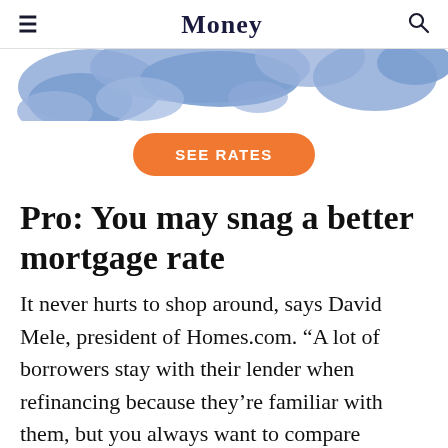Money
[Figure (illustration): Partial view of a stylized blue world map graphic on white background]
[Figure (other): Orange rounded rectangle button with white text reading SEE RATES]
Pro: You may snag a better mortgage rate
It never hurts to shop around, says David Mele, president of Homes.com. “A lot of borrowers stay with their lender when refinancing because they’re familiar with them, but you always want to compare